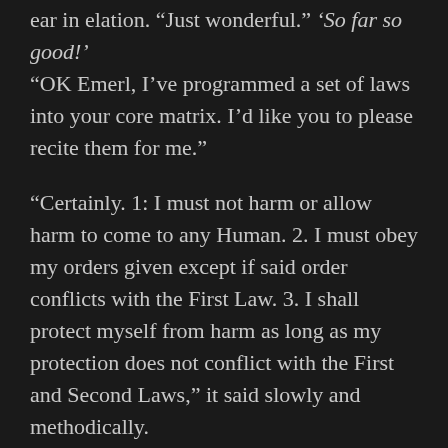ear in elation. "Just wonderful." 'So far so good!' "OK Emerl, I've programmed a set of laws into your core matrix. I'd like you to please recite them for me."
"Certainly. 1: I must not harm or allow harm to come to any Human. 2. I must obey my orders given except if said order conflicts with the First Law. 3. I shall protect myself from harm as long as my protection does not conflict with the First and Second Laws," it said slowly and methodically.
Chris felt his chapped lips split painfully as his smile widened. 'Ten years... of breaks between architecture school, of neglecting my job, shutting myself in at home and keeping myself awake, the failures, the